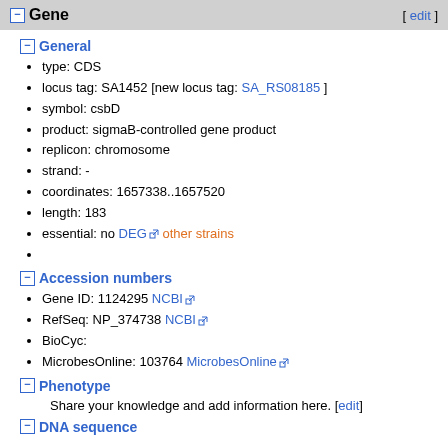Gene [ edit ]
General
type: CDS
locus tag: SA1452 [new locus tag: SA_RS08185 ]
symbol: csbD
product: sigmaB-controlled gene product
replicon: chromosome
strand: -
coordinates: 1657338..1657520
length: 183
essential: no DEG other strains
Accession numbers
Gene ID: 1124295 NCBI
RefSeq: NP_374738 NCBI
BioCyc:
MicrobesOnline: 103764 MicrobesOnline
Phenotype
Share your knowledge and add information here. [edit]
DNA sequence